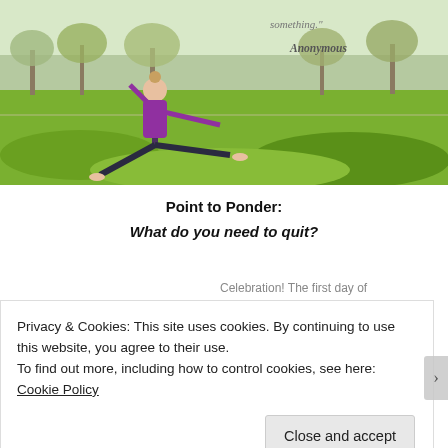[Figure (photo): Woman in purple top doing yoga/warrior pose on green grass outdoors with trees in background. Quote text overlay: 'something.' and 'Anonymous']
something."
Anonymous
Point to Ponder:
What do you need to quit?
Celebration! The first day of
Privacy & Cookies: This site uses cookies. By continuing to use this website, you agree to their use.
To find out more, including how to control cookies, see here: Cookie Policy
Close and accept